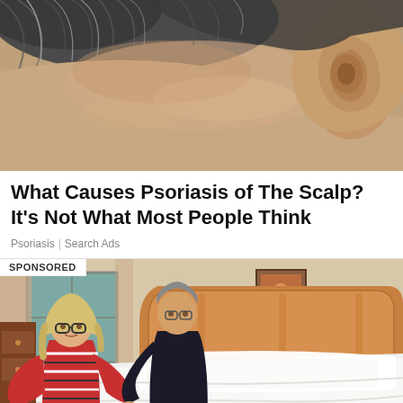[Figure (photo): Close-up photograph of the back of a person's head and ear showing the scalp area with gray/white hair]
What Causes Psoriasis of The Scalp? It's Not What Most People Think
Psoriasis | Search Ads
[Figure (photo): Sponsored photo showing an older couple (woman with blonde hair and glasses in striped sweater, man in black shirt) leaning over a bed with white bedding in a bedroom]